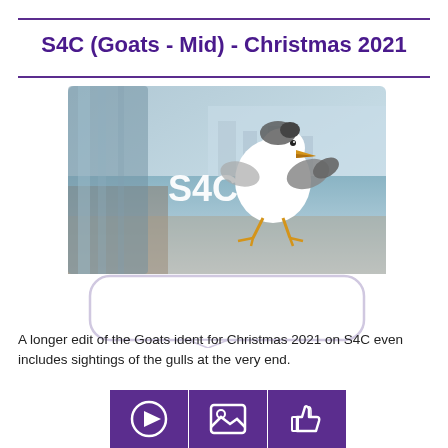S4C (Goats - Mid) - Christmas 2021
[Figure (illustration): Animated seagull character with S4C logo text on a coastal scene background, appearing to be mid-flight]
A longer edit of the Goats ident for Christmas 2021 on S4C even includes sightings of the gulls at the very end.
[Figure (infographic): Three purple square buttons with white icons: a play button (triangle in circle), an image/gallery icon (landscape photo icon), and a thumbs up icon]